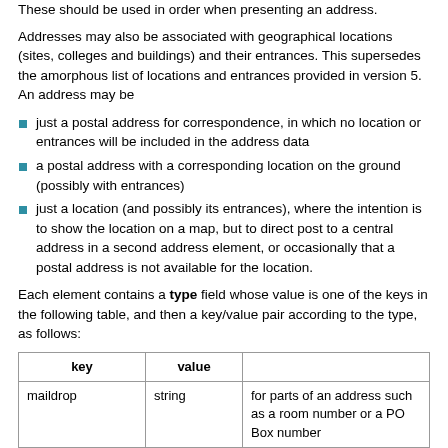These should be used in order when presenting an address.
Addresses may also be associated with geographical locations (sites, colleges and buildings) and their entrances. This supersedes the amorphous list of locations and entrances provided in version 5. An address may be
just a postal address for correspondence, in which no location or entrances will be included in the address data
a postal address with a corresponding location on the ground (possibly with entrances)
just a location (and possibly its entrances), where the intention is to show the location on a map, but to direct post to a central address in a second address element, or occasionally that a postal address is not available for the location.
Each element contains a type field whose value is one of the keys in the following table, and then a key/value pair according to the type, as follows:
| key | value |  |
| --- | --- | --- |
| maildrop | string | for parts of an address such as a room number or a PO Box number |
| building | string | name of building |
| number | string | location on a street, e.g. "42a" |
| site | string | e.g. "Lords Bridge", "New Museums Site" |